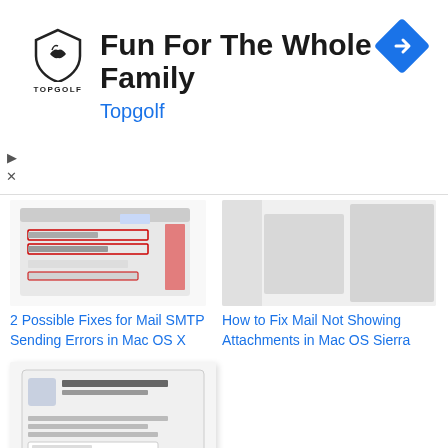[Figure (screenshot): Topgolf advertisement banner with logo, headline 'Fun For The Whole Family', subheading 'Topgolf', and a blue navigation arrow icon]
[Figure (screenshot): Mac OS X Mail SMTP settings dialog with red highlighted fields]
2 Possible Fixes for Mail SMTP Sending Errors in Mac OS X
[Figure (screenshot): Mac OS X Mail attachment area showing gray box]
How to Fix Mail Not Showing Attachments in Mac OS Sierra
[Figure (screenshot): Mac dialog box: Enter Password for Account 'Gmail' with Cancel and OK buttons]
Mac Mail Keeps Asking to Enter Password? Here's How to Fix That